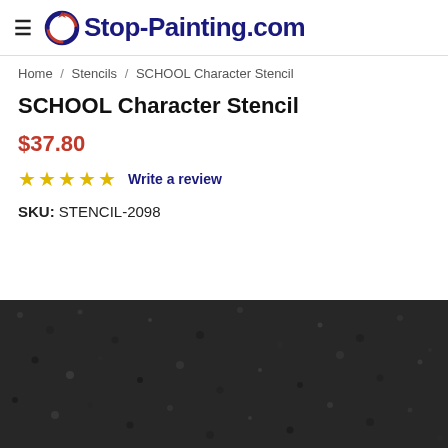Stop-Painting.com
Home / Stencils / SCHOOL Character Stencil
SCHOOL Character Stencil
$37.80
☆☆☆☆☆ Write a review
SKU: STENCIL-2098
[Figure (photo): Dark asphalt/pavement texture surface, dark grey granular road material visible at bottom of page]